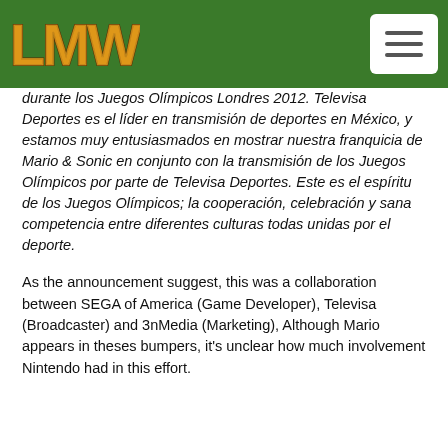LMW logo and navigation menu
durante los Juegos Olímpicos Londres 2012. Televisa Deportes es el líder en transmisión de deportes en México, y estamos muy entusiasmados en mostrar nuestra franquicia de Mario & Sonic en conjunto con la transmisión de los Juegos Olímpicos por parte de Televisa Deportes. Este es el espíritu de los Juegos Olímpicos; la cooperación, celebración y sana competencia entre diferentes culturas todas unidas por el deporte.
As the announcement suggest, this was a collaboration between SEGA of America (Game Developer), Televisa (Broadcaster) and 3nMedia (Marketing), Although Mario appears in theses bumpers, it's unclear how much involvement Nintendo had in this effort.